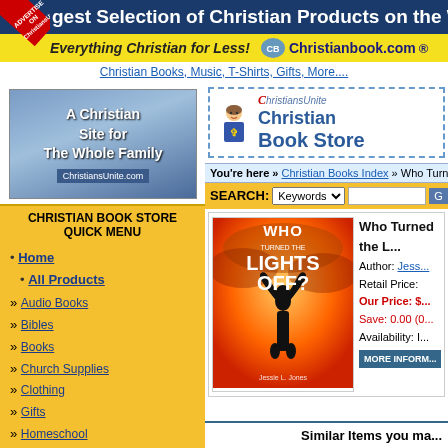gest Selection of Christian Products on the Web
Everything Christian for Less! Christianbook.com
Christian Books, Music, T-Shirts, Gifts, More....
[Figure (screenshot): A Christian Site for The Whole Family - ChristiansUnite.com banner]
CHRISTIAN BOOK STORE QUICK MENU
Home
All Products
Audio Books
Bibles
Books
Church Supplies
Clothing
Gifts
Homeschool
Kids
Music
Software
Spanish Products
Video / DVD
[Figure (logo): ChristiansUnite Christian Book Store logo with cartoon character]
You're here » Christian Books Index » Who Turned the L...
SEARCH: Keywords [dropdown] [text input] [Go button]
[Figure (photo): Book cover: Who Turned the Lights Off? by Jessie L. Jones - silhouette of person with arms raised against orange sky]
Who Turned the L...
Author: Jess...
Retail Price:
Our Price: $...
Save: 0.00 (0...
Availability: I...
MORE INFORM...
Similar Items you ma...